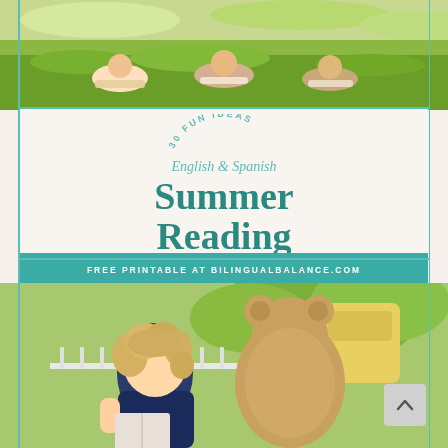[Figure (photo): Children lying on grass reading books outdoors]
30 FUN IDEAS
English & Spanish
Summer Reading Bucket List
FREE PRINTABLE AT BILINGUALBALANCE.COM
[Figure (photo): Young girl with curly blonde hair reading a book next to a large stuffed teddy bear on a porch]